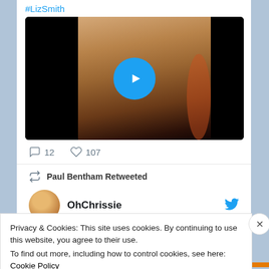#LizSmith
[Figure (screenshot): Video thumbnail with black letterbox bars on left and right, blurred photo of a woman with blonde hair in center, blue circular play button overlay]
12  107
Paul Bentham Retweeted
OhChrissie
Privacy & Cookies: This site uses cookies. By continuing to use this website, you agree to their use.
To find out more, including how to control cookies, see here: Cookie Policy
Close and accept